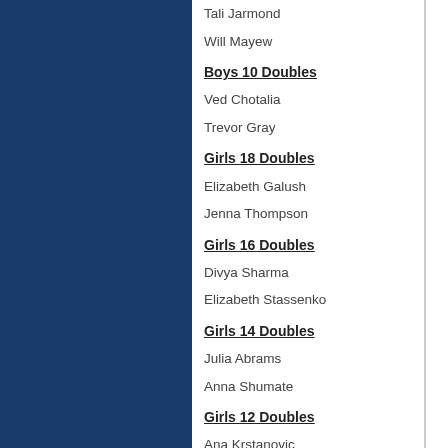Tali Jarmond
Will Mayew
Boys 10 Doubles
Ved Chotalia
Trevor Gray
Girls 18 Doubles
Elizabeth Galush
Jenna Thompson
Girls 16 Doubles
Divya Sharma
Elizabeth Stassenko
Girls 14 Doubles
Julia Abrams
Anna Shumate
Girls 12 Doubles
Ana Krstanovic
Diya Ramchandani
Girls 10 Doubles